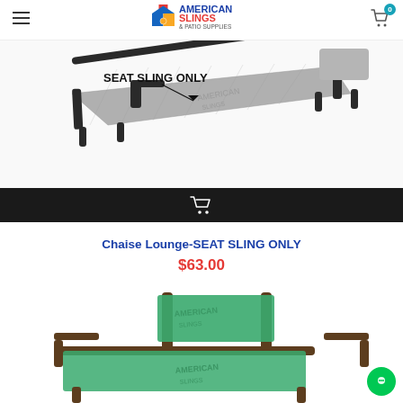American Slings & Patio Supplies — navigation header with hamburger menu, logo, and cart icon (0 items)
[Figure (photo): Chaise lounge chair with grey sling fabric on dark metal frame, with label arrow pointing to fabric saying SEAT SLING ONLY, and a black add-to-cart bar at the bottom with a cart icon]
Chaise Lounge-SEAT SLING ONLY
$63.00
[Figure (photo): Partial view of an outdoor chair with green/teal sling fabric on dark bronze metal frame, with American Slings watermark on the fabric]